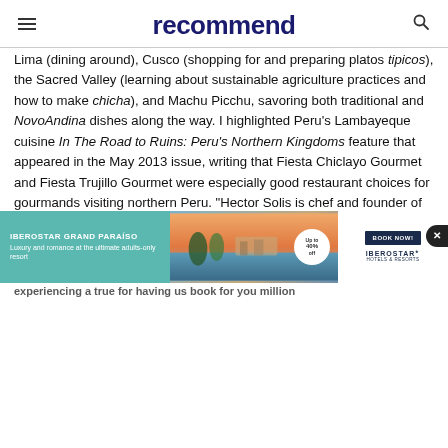recommend
Lima (dining around), Cusco (shopping for and preparing platos tipicos), the Sacred Valley (learning about sustainable agriculture practices and how to make chicha), and Machu Picchu, savoring both traditional and NovoAndina dishes along the way. I highlighted Peru's Lambayeque cuisine In The Road to Ruins: Peru's Northern Kingdoms feature that appeared in the May 2013 issue, writing that Fiesta Chiclayo Gourmet and Fiesta Trujillo Gourmet were especially good restaurant choices for gourmands visiting northern Peru. “Hector Solis is chef and founder of these gourmet temples…he is particularly famous for his mastery of seafood, which he serves on hot stones,” I noted.
priceless quito
[Figure (infographic): Advertisement banner for Iberostar Grand Paraiso hotel. Left teal section reads 'IBEROSTAR GRAND PARAISO – Luxury and romance at the ultimate adults-only resort'. Middle section shows a scenic resort photo with water and palm trees, and a circular badge reading 'Up to 40% off'. Right white section has a dark navy 'BOOK NOW!' button and IBEROSTAR Hotels & Resorts logo.]
experiencing a true for having us book for you million